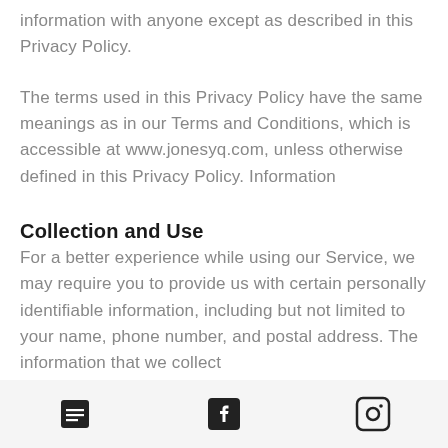information with anyone except as described in this Privacy Policy.
The terms used in this Privacy Policy have the same meanings as in our Terms and Conditions, which is accessible at www.jonesyq.com, unless otherwise defined in this Privacy Policy. Information
Collection and Use
For a better experience while using our Service, we may require you to provide us with certain personally identifiable information, including but not limited to your name, phone number, and postal address. The information that we collect
[list icon] [facebook icon] [instagram icon]